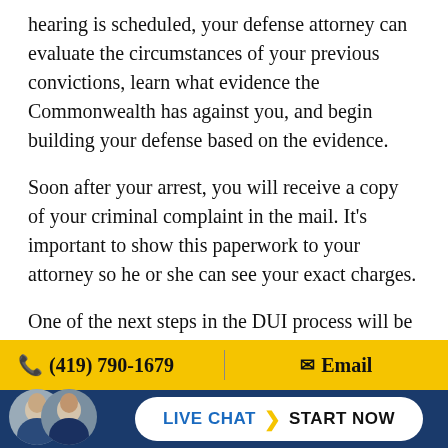hearing is scheduled, your defense attorney can evaluate the circumstances of your previous convictions, learn what evidence the Commonwealth has against you, and begin building your defense based on the evidence.
Soon after your arrest, you will receive a copy of your criminal complaint in the mail. It's important to show this paperwork to your attorney so he or she can see your exact charges.
One of the next steps in the DUI process will be your preliminary hearing. This is the first court appearance on your case and it is critical because at this hearing your options, a plea negotiation or a trial, will be determined. Your attorney will help
[Figure (infographic): Yellow call-to-action bar with phone number (419) 790-1679 and Email link, and blue bar below with two attorney headshot avatars on the left and a white rounded Live Chat Start Now button.]